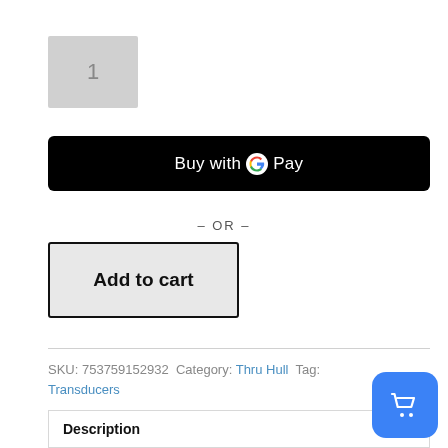[Figure (other): Quantity input box showing the number 1 on a grey background]
[Figure (other): Black 'Buy with G Pay' button with Google G logo]
– OR –
[Figure (other): Grey 'Add to cart' button with black bold text and black border]
SKU: 753759152932  Category: Thru Hull  Tag: Transducers
| Description |
| Additional information |
[Figure (other): Blue floating action button with white shopping cart icon]